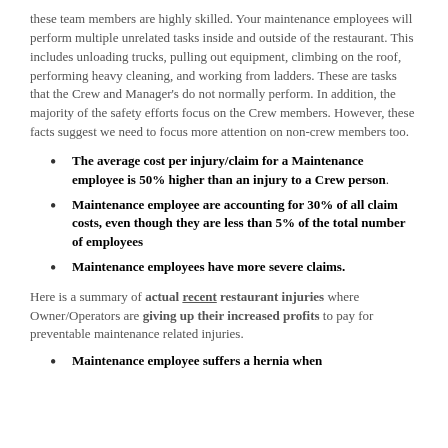these team members are highly skilled. Your maintenance employees will perform multiple unrelated tasks inside and outside of the restaurant. This includes unloading trucks, pulling out equipment, climbing on the roof, performing heavy cleaning, and working from ladders. These are tasks that the Crew and Manager's do not normally perform. In addition, the majority of the safety efforts focus on the Crew members. However, these facts suggest we need to focus more attention on non-crew members too.
The average cost per injury/claim for a Maintenance employee is 50% higher than an injury to a Crew person.
Maintenance employee are accounting for 30% of all claim costs, even though they are less than 5% of the total number of employees
Maintenance employees have more severe claims.
Here is a summary of actual recent restaurant injuries where Owner/Operators are giving up their increased profits to pay for preventable maintenance related injuries.
Maintenance employee suffers a hernia when